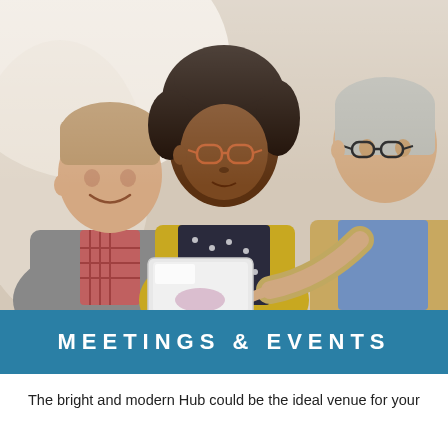[Figure (photo): Three business professionals — a smiling young white man in a grey blazer and checked shirt on the left, a young Black woman with glasses and curly hair wearing a yellow cardigan over a dark polka dot top in the center, and an older white man with glasses in a tan blazer on the right — gathered together looking at a tablet device that the older man is pointing at.]
MEETINGS & EVENTS
The bright and modern Hub could be the ideal venue for your